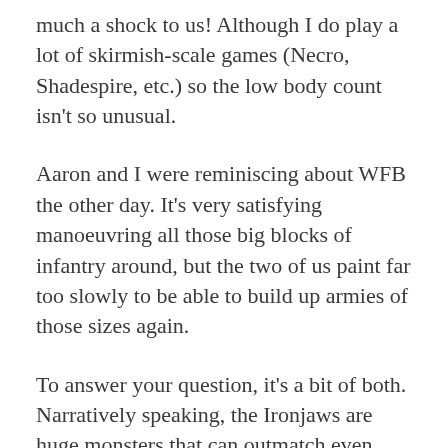much a shock to us! Although I do play a lot of skirmish-scale games (Necro, Shadespire, etc.) so the low body count isn't so unusual.
Aaron and I were reminiscing about WFB the other day. It's very satisfying manoeuvring all those big blocks of infantry around, but the two of us paint far too slowly to be able to build up armies of those sizes again.
To answer your question, it's a bit of both. Narratively speaking, the Ironjaws are huge monsters that can outmatch even Stormcast, never mind a puny human. Rules wise, it's a bit more open, but still in the Ironjaw's favour. You'd need to get lucky and hit (4+ with rerolls) and wound (3+) with both attacks, and then the Ork